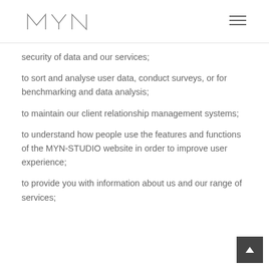MYN
security of data and our services;
to sort and analyse user data, conduct surveys, or for benchmarking and data analysis;
to maintain our client relationship management systems;
to understand how people use the features and functions of the MYN-STUDIO website in order to improve user experience;
to provide you with information about us and our range of services;